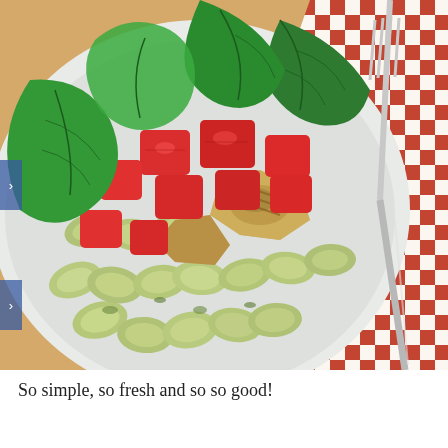[Figure (photo): A plate of pesto shell pasta with diced red tomatoes, grilled chicken pieces, and fresh basil leaves on top, served on a light grey ceramic plate placed on a red and white checkered cloth napkin with a fork visible on the right side.]
So simple, so fresh and so so good!